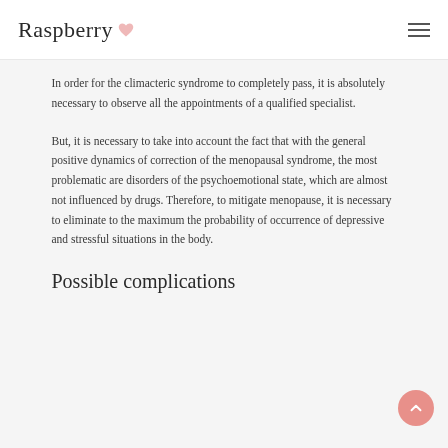Raspberry
In order for the climacteric syndrome to completely pass, it is absolutely necessary to observe all the appointments of a qualified specialist.
But, it is necessary to take into account the fact that with the general positive dynamics of correction of the menopausal syndrome, the most problematic are disorders of the psychoemotional state, which are almost not influenced by drugs. Therefore, to mitigate menopause, it is necessary to eliminate to the maximum the probability of occurrence of depressive and stressful situations in the body.
Possible complications